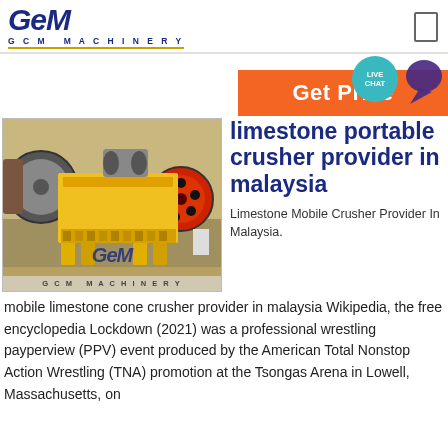[Figure (logo): GCM Machinery logo with stylized italic text and gold underline]
[Figure (other): Orange 'Get Price' button bar with Live Chat teal bubble and purple chat icon]
[Figure (photo): Photo of a yellow limestone portable jaw crusher machine with GCM Machinery watermark]
limestone portable crusher provider in malaysia
Limestone Mobile Crusher Provider In Malaysia.
mobile limestone cone crusher provider in malaysia Wikipedia, the free encyclopedia Lockdown (2021) was a professional wrestling payperview (PPV) event produced by the American Total Nonstop Action Wrestling (TNA) promotion at the Tsongas Arena in Lowell, Massachusetts, on